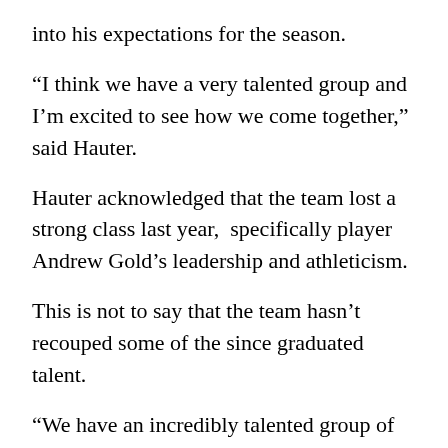into his expectations for the season.
“I think we have a very talented group and I’m excited to see how we come together,” said Hauter.
Hauter acknowledged that the team lost a strong class last year,  specifically player Andrew Gold’s leadership and athleticism.
This is not to say that the team hasn’t recouped some of the since graduated talent.
“We have an incredibly talented group of first-year players and many guys that will play a role this year,” said Hauter.
According to Hauter, First-years  Gabe Edwards and